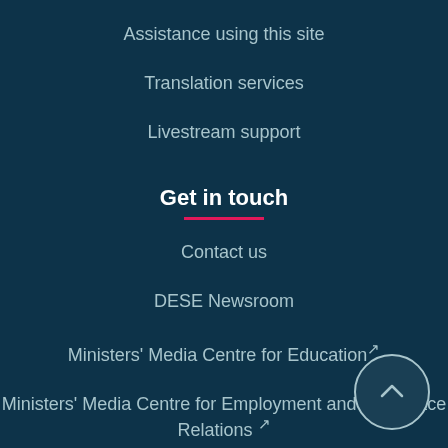Assistance using this site
Translation services
Livestream support
Get in touch
Contact us
DESE Newsroom
Ministers' Media Centre for Education ☞
Ministers' Media Centre for Employment and Workplace Relations ☞
Complaints